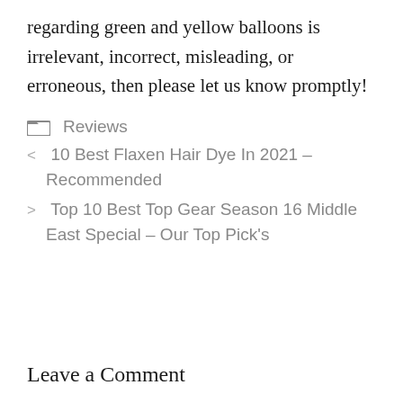regarding green and yellow balloons is irrelevant, incorrect, misleading, or erroneous, then please let us know promptly!
Reviews
< 10 Best Flaxen Hair Dye In 2021 – Recommended
> Top 10 Best Top Gear Season 16 Middle East Special – Our Top Pick's
Leave a Comment